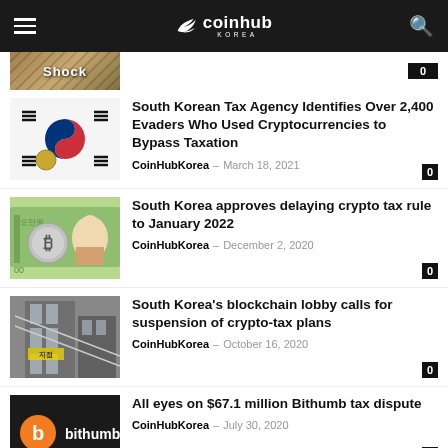coinhub KOREA
[Figure (screenshot): Partial article thumbnail with 'Shock' text overlay]
South Korean Tax Agency Identifies Over 2,400 Evaders Who Used Cryptocurrencies to Bypass Taxation
CoinHubKorea – March 18, 2021
[Figure (photo): South Korean flag with Taegukgi design and a coin]
South Korea approves delaying crypto tax rule to January 2022
CoinHubKorea – December 2, 2020
[Figure (photo): Bitcoin coin over Korean won banknote with portrait]
South Korea's blockchain lobby calls for suspension of crypto-tax plans
CoinHubKorea – October 16, 2020
[Figure (photo): Building exterior with signage]
All eyes on $67.1 million Bithumb tax dispute
CoinHubKorea – July 30, 2020
[Figure (photo): Bithumb logo on dark background]